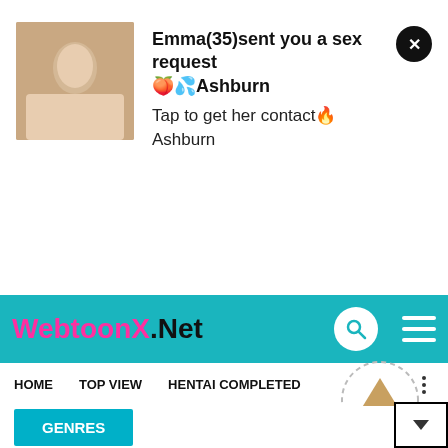[Figure (photo): Advertisement notification with thumbnail image of a person, close button, bold title text and subtitle]
Emma(35)sent you a sex request 🍑💦Ashburn
Tap to get her contact🔥 Ashburn
[Figure (screenshot): WebtoonX.Net website header with teal background, site logo, search icon, and hamburger menu]
WebtoonX.Net
HOME   TOP VIEW   HENTAI COMPLETED
Home / Her Nickname is raw chapter 87
GENRES